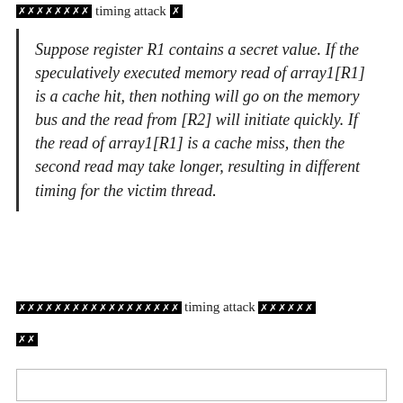XXXXXXXX timing attack
Suppose register R1 contains a secret value. If the speculatively executed memory read of array1[R1] is a cache hit, then nothing will go on the memory bus and the read from [R2] will initiate quickly. If the read of array1[R1] is a cache miss, then the second read may take longer, resulting in different timing for the victim thread.
XXXXXXXXXXXXXXXXXX timing attack XXXXXX XX